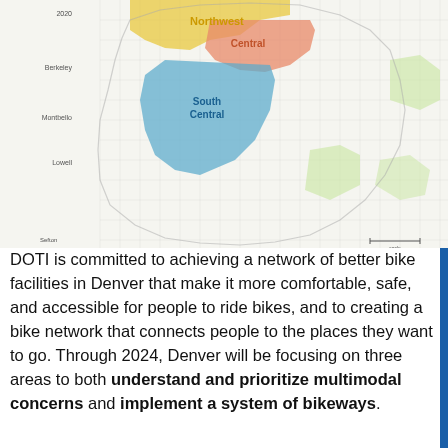[Figure (map): Map of Denver districts showing Northwest (yellow), Central (salmon/pink), and South Central (blue/teal) highlighted regions overlaid on a street grid map. Left side shows neighborhood labels.]
DOTI is committed to achieving a network of better bike facilities in Denver that make it more comfortable, safe, and accessible for people to ride bikes, and to creating a bike network that connects people to the places they want to go. Through 2024, Denver will be focusing on three areas to both understand and prioritize multimodal concerns and implement a system of bikeways.